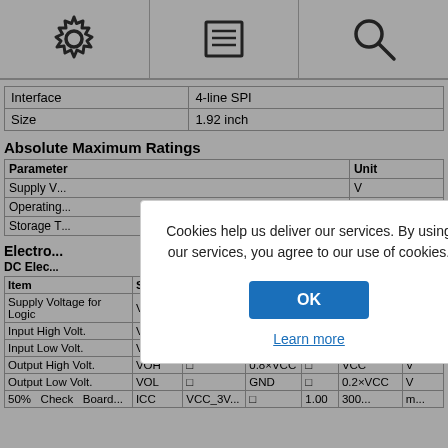[Figure (other): Page header with three icon cells: gear/settings icon, document/list icon, and magnifying glass/search icon]
|  |  |
| --- | --- |
| Interface | 4-line SPI |
| Size | 1.92 inch |
Absolute Maximum Ratings
| Parameter | Unit |
| --- | --- |
| Supply V... | V |
| Operating... | °C |
| Storage T... | °C |
Electro...
DC Elec...
| Item | Symbol | Condition | Min | Typ | Max | Unit |
| --- | --- | --- | --- | --- | --- | --- |
| Supply Voltage for Logic | VCC |  | 1.65 | 3.0 | 3.3 | V |
| Input High Volt. | VIH |  | 0.8×VCC |  | VCC | V |
| Input Low Volt. | VIL |  | GND |  | 0.2×VCC | V |
| Output High Volt. | VOH |  | 0.8×VCC |  | VCC | V |
| Output Low Volt. | VOL |  | GND |  | 0.2×VCC | V |
| 50% Check Board... | ICC | VCC_3V... |  | 1.00 | 300... | m... |
[Figure (other): Cookie consent modal dialog with text: 'Cookies help us deliver our services. By using our services, you agree to our use of cookies.' with OK button and Learn more link]